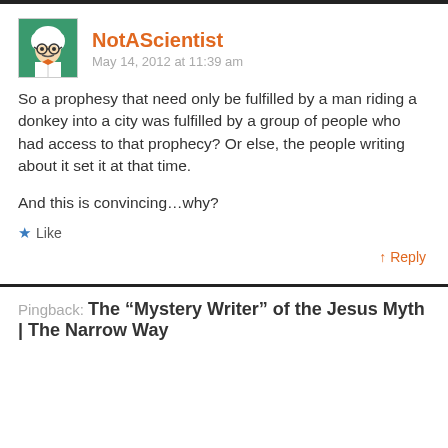NotAScientist — May 14, 2012 at 11:39 am
So a prophesy that need only be fulfilled by a man riding a donkey into a city was fulfilled by a group of people who had access to that prophecy? Or else, the people writing about it set it at that time.
And this is convincing…why?
★ Like
↑ Reply
Pingback: The “Mystery Writer” of the Jesus Myth | The Narrow Way